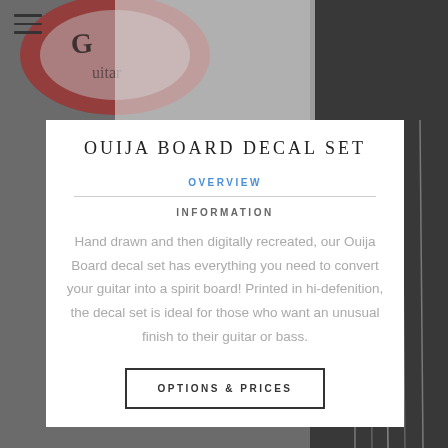[Figure (photo): Background photo showing a guitar with a decorative decal. Visible at top of page behind modal overlay.]
OUIJA BOARD DECAL SET
OVERVIEW
INFORMATION
Hand drawn and then digitally recreated, our Ouija Board decal set has everything you need to convert your guitar into a spirit board! Printed in hi-defenition, the decal set is ideal for those who want an unusual finish to their guitar or bass.
OPTIONS & PRICES